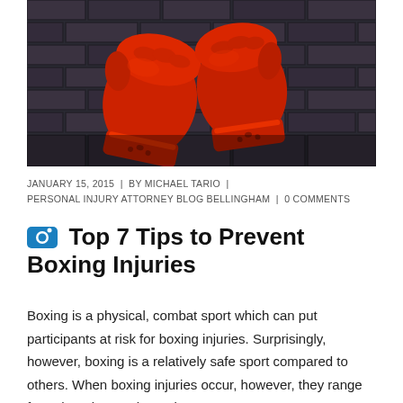[Figure (photo): Red boxing gloves hanging against a dark brick wall]
JANUARY 15, 2015  |  BY MICHAEL TARIO  |  PERSONAL INJURY ATTORNEY BLOG BELLINGHAM  |  0 COMMENTS
Top 7 Tips to Prevent Boxing Injuries
Boxing is a physical, combat sport which can put participants at risk for boxing injuries. Surprisingly, however, boxing is a relatively safe sport compared to others. When boxing injuries occur, however, they range from the minor to the serious.